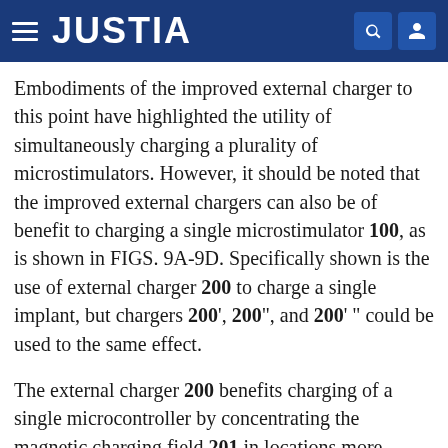JUSTIA
Embodiments of the improved external charger to this point have highlighted the utility of simultaneously charging a plurality of microstimulators. However, it should be noted that the improved external chargers can also be of benefit to charging a single microstimulator 100, as is shown in FIGS. 9A-9D. Specifically shown is the use of external charger 200 to charge a single implant, but chargers 200', 200", and 200' " could be used to the same effect.
The external charger 200 benefits charging of a single microcontroller by concentrating the magnetic charging field 201 in locations more proximate to the vicinity of the microstimulator 100. This can result, for example, in energy savings in the production of the magnetic charging field 201 because energy may not be spent generating significant fields at locations distant from the